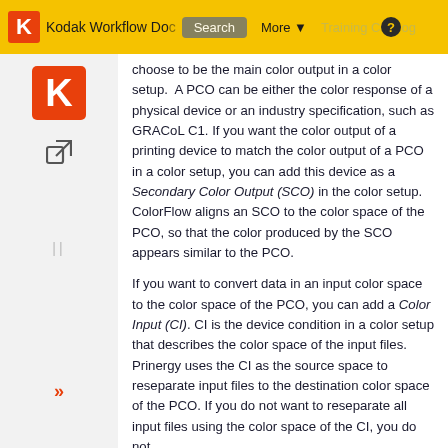Kodak Workflow Documentation | Search | More | Training
[Figure (logo): Kodak red K logo square in sidebar]
choose to be the main color output in a color setup. A PCO can be either the color response of a physical device or an industry specification, such as GRACoL C1. If you want the color output of a printing device to match the color output of a PCO in a color setup, you can add this device as a Secondary Color Output (SCO) in the color setup. ColorFlow aligns an SCO to the color space of the PCO, so that the color produced by the SCO appears similar to the PCO.
If you want to convert data in an input color space to the color space of the PCO, you can add a Color Input (CI). CI is the device condition in a color setup that describes the color space of the input files. Prinergy uses the CI as the source space to reseparate input files to the destination color space of the PCO. If you do not want to reseparate all input files using the color space of the CI, you do not